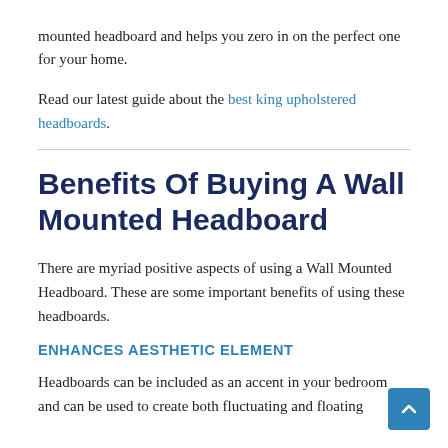mounted headboard and helps you zero in on the perfect one for your home.
Read our latest guide about the best king upholstered headboards.
Benefits Of Buying A Wall Mounted Headboard
There are myriad positive aspects of using a Wall Mounted Headboard. These are some important benefits of using these headboards.
ENHANCES AESTHETIC ELEMENT
Headboards can be included as an accent in your bedroom and can be used to create both fluctuating and floating